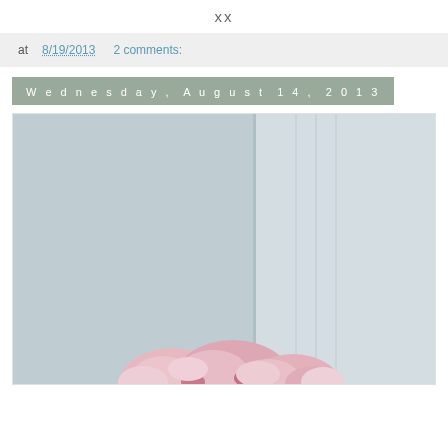xx
at 8/19/2013   2 comments:
Wednesday, August 14, 2013
[Figure (photo): A minimalist lifestyle photo showing a pale blue-grey room interior with vertical hanging ribbons/strings and pink peony flowers visible at the bottom of the frame]